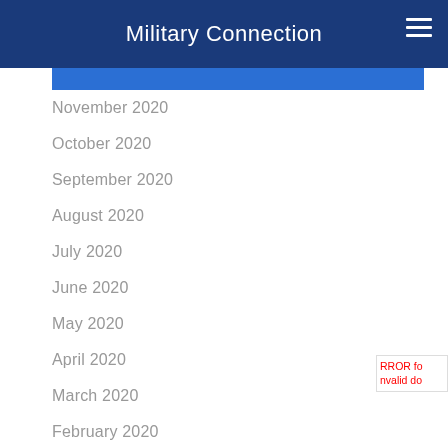Military Connection
November 2020
October 2020
September 2020
August 2020
July 2020
June 2020
May 2020
April 2020
March 2020
February 2020
January 2020
December 2019
November 2019
October 2019